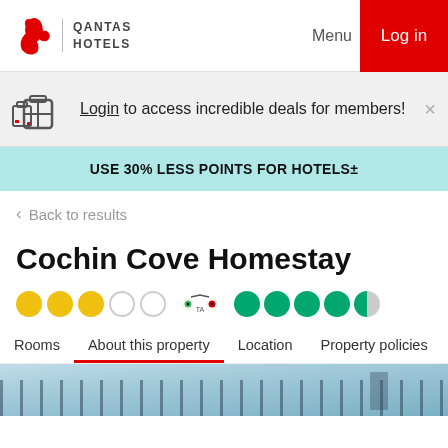QANTAS HOTELS — Menu — Log in
Login to access incredible deals for members!
USE 30% LESS POINTS FOR HOTELS±
< Back to results
Cochin Cove Homestay
[Figure (other): 3 gold filled circles and 2 empty circles (3-star hotel rating), plus TripAdvisor logo and 4.5 green circles (TripAdvisor rating of 4.5)]
Rooms  About this property  Location  Property policies
[Figure (photo): Partial view of hotel interior with blue sky and railing/balcony structure]